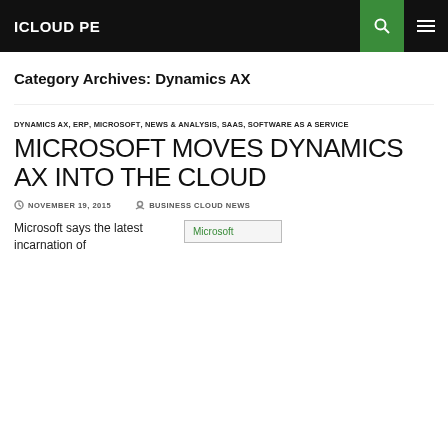ICLOUD PE
Category Archives: Dynamics AX
DYNAMICS AX, ERP, MICROSOFT, NEWS & ANALYSIS, SAAS, SOFTWARE AS A SERVICE
MICROSOFT MOVES DYNAMICS AX INTO THE CLOUD
NOVEMBER 19, 2015   BUSINESS CLOUD NEWS
Microsoft says the latest incarnation of
[Figure (other): Microsoft image placeholder]